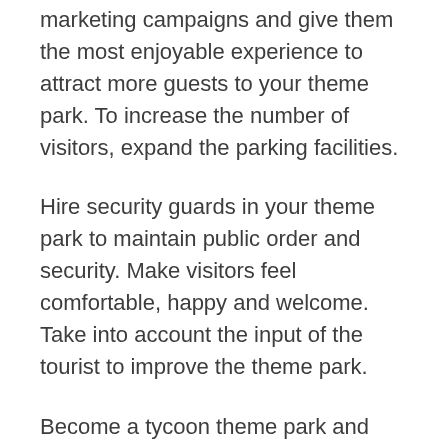marketing campaigns and give them the most enjoyable experience to attract more guests to your theme park. To increase the number of visitors, expand the parking facilities.
Hire security guards in your theme park to maintain public order and security. Make visitors feel comfortable, happy and welcome. Take into account the input of the tourist to improve the theme park.
Become a tycoon theme park and hire new employees, develop rides and manage every aspect of the business. Are you going to invest your money to improve the park facilities? Or are you going to raise your pay to keep your workers